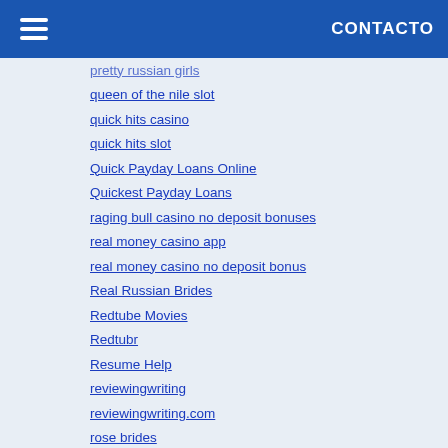CONTACTO
pretty russian girls
queen of the nile slot
quick hits casino
quick hits slot
Quick Payday Loans Online
Quickest Payday Loans
raging bull casino no deposit bonuses
real money casino app
real money casino no deposit bonus
Real Russian Brides
Redtube Movies
Redtubr
Resume Help
reviewingwriting
reviewingwriting.com
rose brides
ru brides
Russian Bikini Brides
Russian Bride
Russian Bride Agency
Russian Bride Match
Russian Bride Reviews